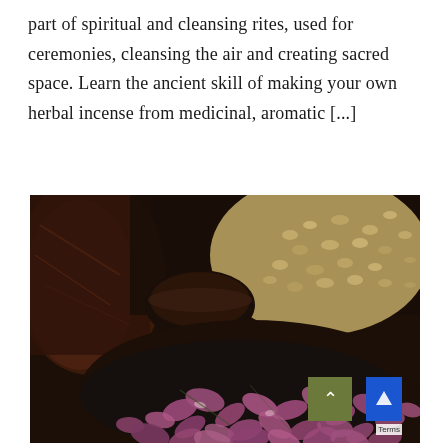part of spiritual and cleansing rites, used for ceremonies, cleansing the air and creating sacred space. Learn the ancient skill of making your own herbal incense from medicinal, aromatic [...]
[Figure (photo): Close-up photograph of dried herbs and flowers in dark bowls or containers. Visible are purple/pink dried rose petals in the foreground, and dried green/yellow herb seeds or pods in the upper right. Dark clay or wooden vessels are in the background and left side. A green scroll-to-top button with an upward chevron arrow is overlaid in the lower center-right of the image.]